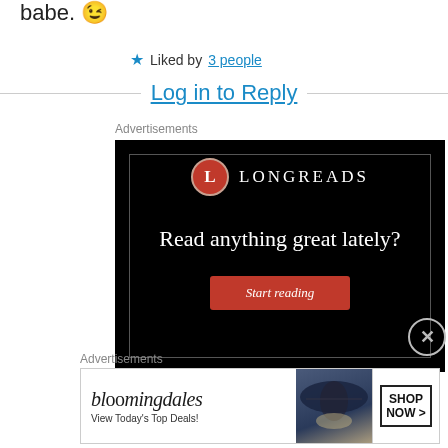babe. 😉
★ Liked by 3 people
Log in to Reply
Advertisements
[Figure (other): Longreads advertisement: black background with Longreads logo (red circle with L), tagline 'Read anything great lately?' and red 'Start reading' button]
Advertisements
[Figure (other): Bloomingdale's advertisement showing logo, woman with large hat, 'View Today's Top Deals!' text, and 'SHOP NOW >' button]